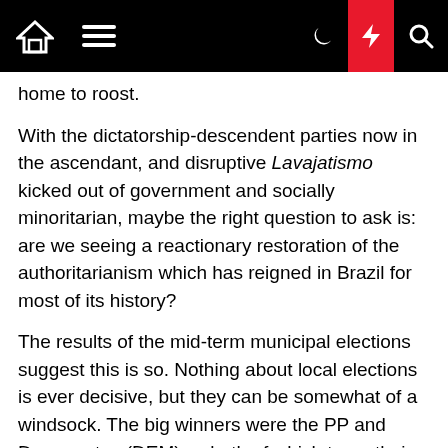Navigation bar with home, menu, moon, lightning, and search icons
home to roost.
With the dictatorship-descendent parties now in the ascendant, and disruptive Lavajatismo kicked out of government and socially minoritarian, maybe the right question to ask is: are we seeing a reactionary restoration of the authoritarianism which has reigned in Brazil for most of its history?
The results of the mid-term municipal elections suggest this is so. Nothing about local elections is ever decisive, but they can be somewhat of a windsock. The big winners were the PP and Democratas (DEM) — both of which trace their lineage back to ARENA, and both are among the most-cited parties in the Lava Jato investigations — as well as the evangelical Republicanos and the for-